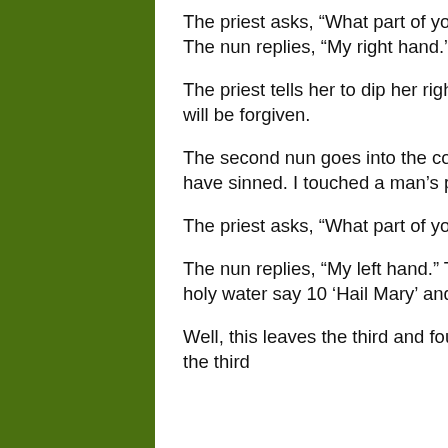The priest asks, “What part of your body did you use?”
The nun replies, “My right hand.”
The priest tells her to dip her right hand in holy water say 10 ‘Hail Mary’ and all will be forgiven.
The second nun goes into the confessional and says, “Bless me, father for I have sinned. I touched a man’s private part.”
The priest asks, “What part of your body did you use?”
The nun replies, “My left hand.” The priest tells her to dip her left hand in the holy water say 10 ‘Hail Mary’ and all will be forgiven.
Well, this leaves the third and fourth nun standing in line. The fourth nun taps the third